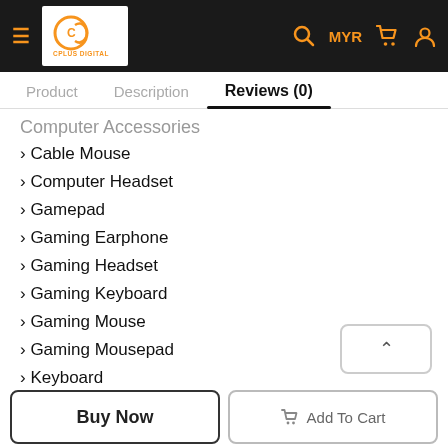CPLUS DIGITAL — MYR cart user
Product | Description | Reviews (0)
Computer Accessories
> Cable Mouse
> Computer Headset
> Gamepad
> Gaming Earphone
> Gaming Headset
> Gaming Keyboard
> Gaming Mouse
> Gaming Mousepad
> Keyboard
> Mouse & Keyboard
> Webcam
> Wireless Mouse
Buy Now | Add To Cart